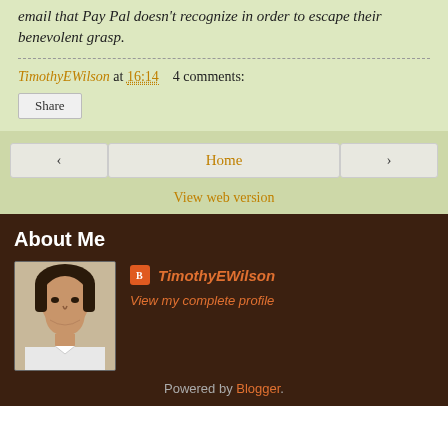email that Pay Pal doesn't recognize in order to escape their benevolent grasp.
TimothyEWilson at 16:14   4 comments:
Share
‹
Home
›
View web version
About Me
[Figure (photo): Profile photo of TimothyEWilson, a man with dark hair]
TimothyEWilson
View my complete profile
Powered by Blogger.